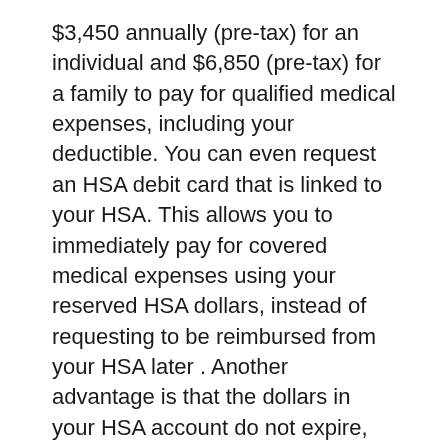$3,450 annually (pre-tax) for an individual and $6,850 (pre-tax) for a family to pay for qualified medical expenses, including your deductible. You can even request an HSA debit card that is linked to your HSA. This allows you to immediately pay for covered medical expenses using your reserved HSA dollars, instead of requesting to be reimbursed from your HSA later . Another advantage is that the dollars in your HSA account do not expire, so they roll into the following year if you do not use them.
When you open and fund an HSA, you have the flexibility to:
Pay for eligible medical expenses on a claim-by-claim basis using your HSA or
Use your own personal funds to cover...